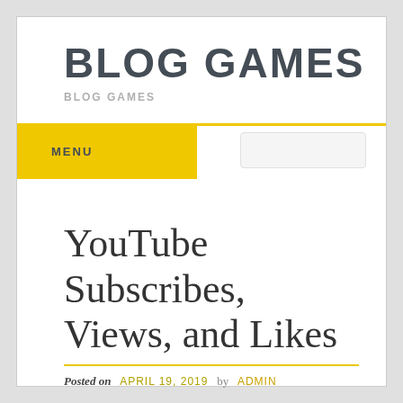BLOG GAMES
BLOG GAMES
MENU
YouTube Subscribes, Views, and Likes
Posted on APRIL 19, 2019 by ADMIN